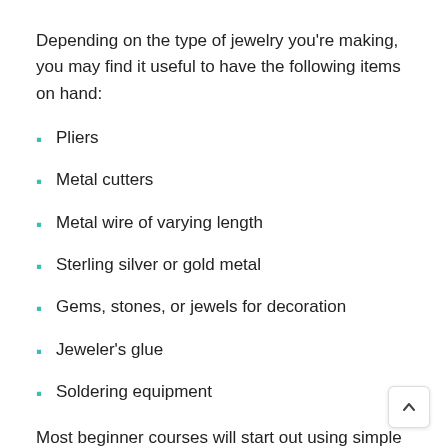Depending on the type of jewelry you're making, you may find it useful to have the following items on hand:
Pliers
Metal cutters
Metal wire of varying length
Sterling silver or gold metal
Gems, stones, or jewels for decoration
Jeweler's glue
Soldering equipment
Most beginner courses will start out using simple tools and equipment, so don't worry about purchasing everything at once. If you're starting from scratch, consider purchasing a DIY beginners jewelry making